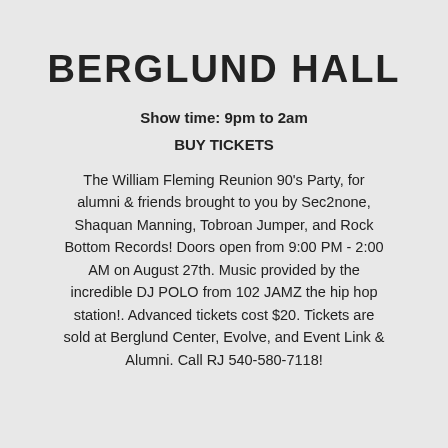BERGLUND HALL
Show time: 9pm to 2am
BUY TICKETS
The William Fleming Reunion 90's Party, for alumni & friends brought to you by Sec2none, Shaquan Manning, Tobroan Jumper, and Rock Bottom Records! Doors open from 9:00 PM - 2:00 AM on August 27th. Music provided by the incredible DJ POLO from 102 JAMZ the hip hop station!. Advanced tickets cost $20. Tickets are sold at Berglund Center, Evolve, and Event Link & Alumni. Call RJ 540-580-7118!